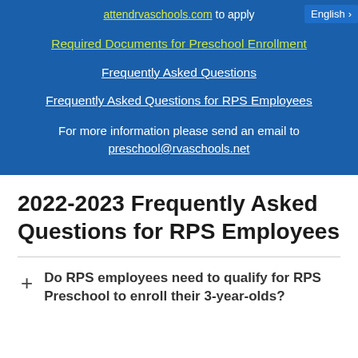attendrvaschools.com to apply
English >
Required Documents for Preschool Enrollment
Frequently Asked Questions
Frequently Asked Questions for RPS Employees
For more information please send an email to preschool@rvaschools.net
2022-2023 Frequently Asked Questions for RPS Employees
Do RPS employees need to qualify for RPS Preschool to enroll their 3-year-olds?